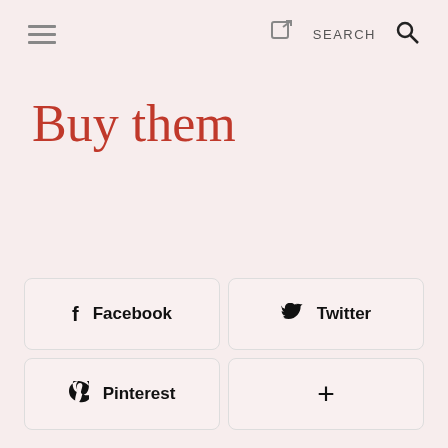≡  [share icon]  SEARCH  [search icon]
Buy them
↓  1  [comment icon]
f  Facebook
🐦  Twitter
♟  Pinterest
+